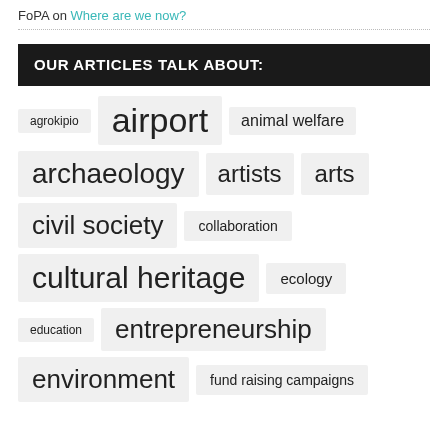FoPA on Where are we now?
OUR ARTICLES TALK ABOUT:
[Figure (infographic): Tag cloud with topics: agrokipio, airport, animal welfare, archaeology, artists, arts, civil society, collaboration, cultural heritage, ecology, education, entrepreneurship, environment, fund raising campaigns]